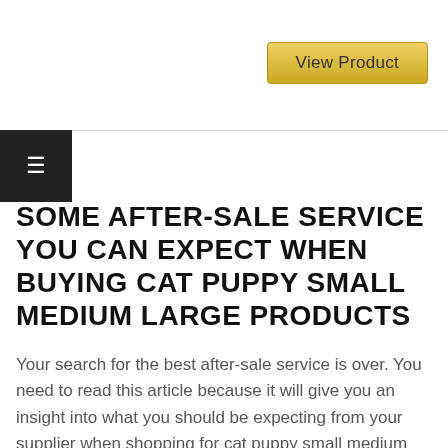[Figure (other): Top banner area with 'View Product' button in golden/yellow color with rounded corners]
[Figure (other): Hamburger menu icon (three horizontal lines) on dark/black square background]
SOME AFTER-SALE SERVICE YOU CAN EXPECT WHEN BUYING CAT PUPPY SMALL MEDIUM LARGE PRODUCTS
Your search for the best after-sale service is over. You need to read this article because it will give you an insight into what you should be expecting from your supplier when shopping for cat puppy small medium large products that are of high quality.
You want to make sure you get the most out of your purchase and that's why you are looking for the best after-sale service. As a customer, you probably know